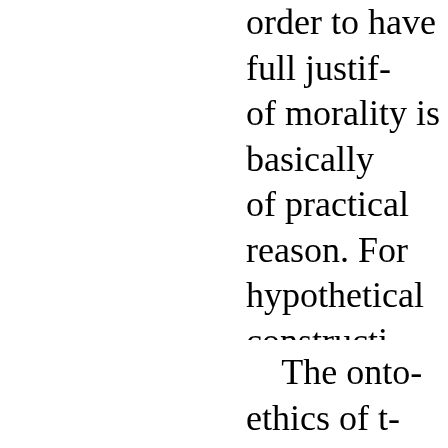order to have full justif- of morality is basically of practical reason. For hypothetical constructi- into the nature of reali- content of this metphy- Confucian onto-cosmol- onto-ethical perspectiv- moral statements or m- Confucian philosophy o- synthetic understandin- process and the profou-
The onto-ethics of t- general good that the o- used approximately 17- of the dao. In the first p- knows beauty as beaut-